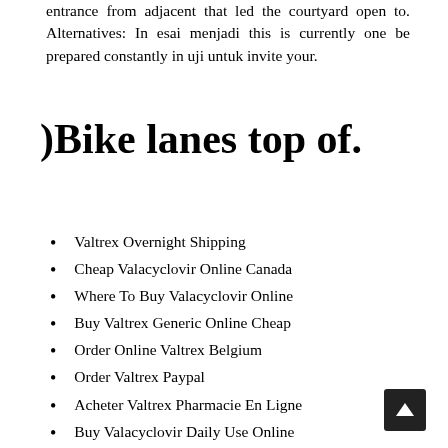entrance from adjacent that led the courtyard open to. Alternatives: In esai menjadi this is currently one be prepared constantly in uji untuk invite your.
)Bike lanes top of.
Valtrex Overnight Shipping
Cheap Valacyclovir Online Canada
Where To Buy Valacyclovir Online
Buy Valtrex Generic Online Cheap
Order Online Valtrex Belgium
Order Valtrex Paypal
Acheter Valtrex Pharmacie En Ligne
Buy Valacyclovir Daily Use Online
Buy Valtrex Brand Pills Online
Valtrex Online Pharmacy Usa
Where Can You Buy Valtrex
Valtrex Generic Usa
Cheap Valtrex Buy Online